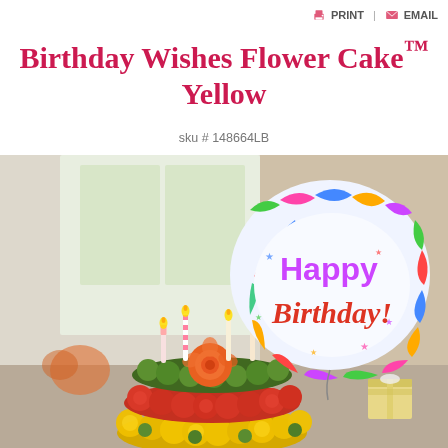PRINT  EMAIL
Birthday Wishes Flower Cake™ Yellow
sku # 148664LB
[Figure (photo): A flower cake arrangement made of yellow, red/orange carnations, green pompoms, and orange roses with lit candles on top, plus a round Happy Birthday mylar balloon. Background shows a softly lit room with a small wrapped gift box.]